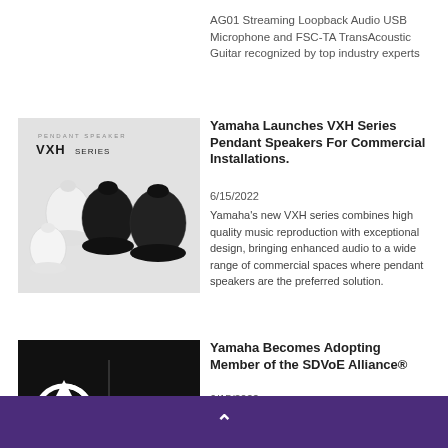AG01 Streaming Loopback Audio USB Microphone and FSC-TA TransAcoustic Guitar recognized by top industry experts
[Figure (photo): VXH Series pendant speakers — black and white teardrop-shaped speakers hanging against white background, with PENDANT SPEAKER VXH SERIES logo text at top]
Yamaha Launches VXH Series Pendant Speakers For Commercial Installations.
6/15/2022
Yamaha's new VXH series combines high quality music reproduction with exceptional design, bringing enhanced audio to a wide range of commercial spaces where pendant speakers are the preferred solution.
[Figure (logo): SDVoE Alliance logo — white circular arrow-like icon on black background with SDVoE word mark and ALLIANCE text below]
Yamaha Becomes Adopting Member of the SDVoE Alliance®
6/15/2022
June 15, 2022. Shizuoka, Japan – Yamaha Corporation has announced that it
^